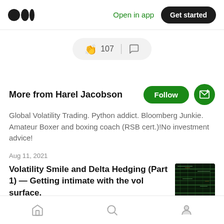Medium logo | Open in app | Get started
[Figure (other): Clap count 107 and comment icon action bar]
More from Harel Jacobson
Global Volatility Trading. Python addict. Bloomberg Junkie. Amateur Boxer and boxing coach (RSB cert.)!No investment advice!
Aug 11, 2021
Volatility Smile and Delta Hedging (Part 1) — Getting intimate with the vol surface.
Home | Search | Profile navigation icons